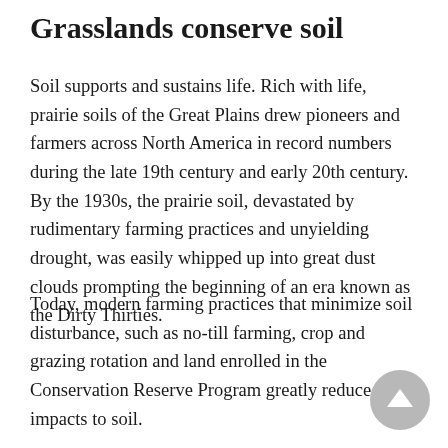Grasslands conserve soil
Soil supports and sustains life. Rich with life, prairie soils of the Great Plains drew pioneers and farmers across North America in record numbers during the late 19th century and early 20th century. By the 1930s, the prairie soil, devastated by rudimentary farming practices and unyielding drought, was easily whipped up into great dust clouds prompting the beginning of an era known as the Dirty Thirties.
Today, modern farming practices that minimize soil disturbance, such as no-till farming, crop and grazing rotation and land enrolled in the Conservation Reserve Program greatly reduce impacts to soil.